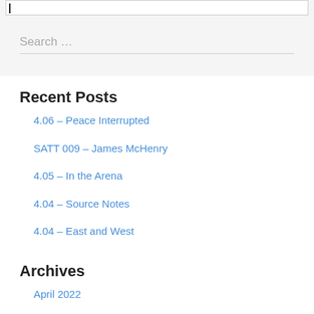Search ...
Recent Posts
4.06 – Peace Interrupted
SATT 009 – James McHenry
4.05 – In the Arena
4.04 – Source Notes
4.04 – East and West
Archives
April 2022